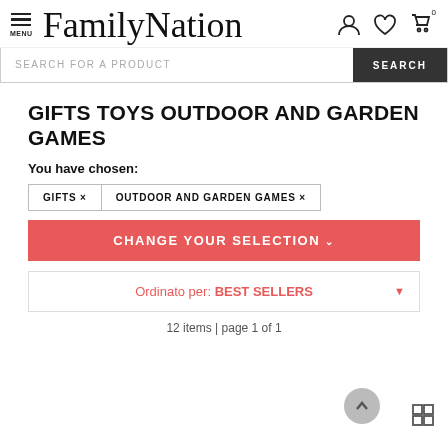FamilyNation — MENU, user icon, heart icon, cart (0)
SEARCH FOR A PRODUCT  SEARCH
GIFTS TOYS OUTDOOR AND GARDEN GAMES
You have chosen:
GIFTS ×
OUTDOOR AND GARDEN GAMES ×
CHANGE YOUR SELECTION ∨
Ordinato per: BEST SELLERS
12 items | page 1 of 1